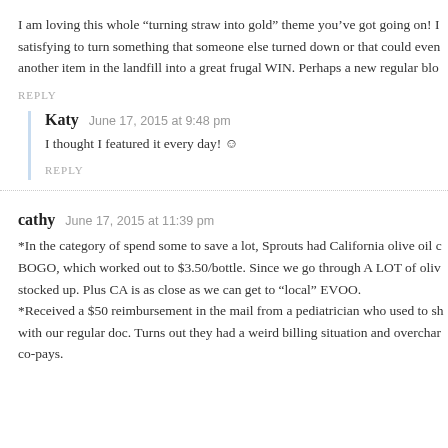I am loving this whole “turning straw into gold” theme you’ve got going on! I satisfying to turn something that someone else turned down or that could even another item in the landfill into a great frugal WIN. Perhaps a new regular blo
REPLY
Katy  June 17, 2015 at 9:48 pm
I thought I featured it every day! ☺
REPLY
cathy  June 17, 2015 at 11:39 pm
*In the category of spend some to save a lot, Sprouts had California olive oil c BOGO, which worked out to $3.50/bottle. Since we go through A LOT of oliv stocked up. Plus CA is as close as we can get to “local” EVOO.
*Received a $50 reimbursement in the mail from a pediatrician who used to sh with our regular doc. Turns out they had a weird billing situation and overchar co-pays.